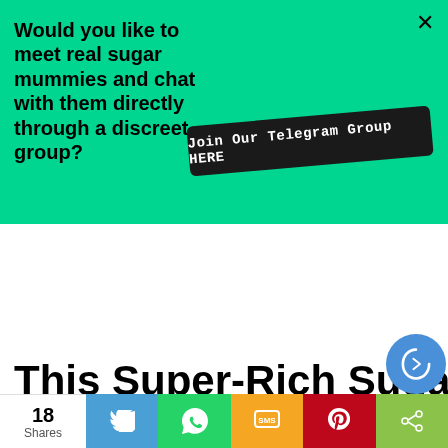[Figure (infographic): Green promotional banner with text asking if user wants to meet real sugar mummies and a black button to join a Telegram group, with an X close button in top-right corner.]
This Super-Rich Sugar Momma Needs A Cool Young Man – Are You
[Figure (infographic): Social share bar at bottom showing 18 Shares with Twitter, WhatsApp, SMS, Pinterest, and generic share buttons]